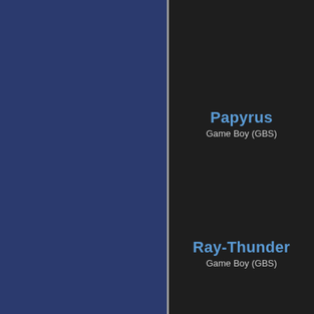[Figure (other): Two-panel layout with a dark blue left panel and a dark right panel separated by a vertical gray divider. The right panel contains two labeled entries for Game Boy (GBS) games: Papyrus at the top and Ray-Thunder at the bottom.]
Papyrus
Game Boy (GBS)
Ray-Thunder
Game Boy (GBS)